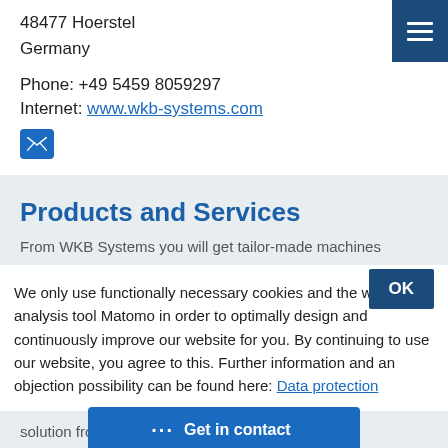48477 Hoerstel
Germany
Phone: +49 5459 8059297
Internet: www.wkb-systems.com
[Figure (other): Email icon button (blue square with envelope)]
Products and Services
From WKB Systems you will get tailor-made machines
We only use functionally necessary cookies and the web analysis tool Matomo in order to optimally design and continuously improve our website for you. By continuing to use our website, you agree to this. Further information and an objection possibility can be found here: Data protection
solution from one source: